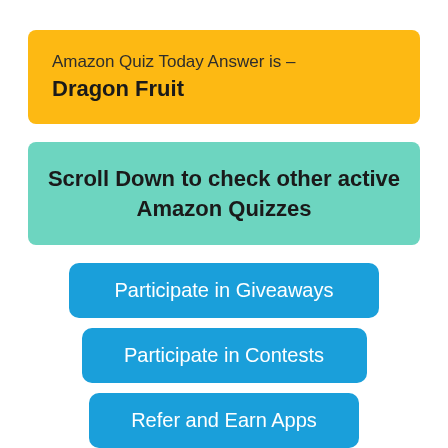Amazon Quiz Today Answer is – Dragon Fruit
Scroll Down to check other active Amazon Quizzes
Participate in Giveaways
Participate in Contests
Refer and Earn Apps